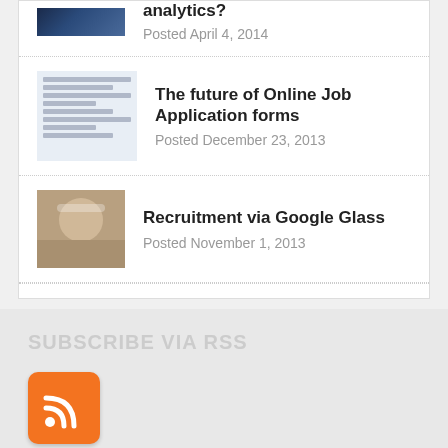analytics? Posted April 4, 2014
The future of Online Job Application forms — Posted December 23, 2013
Recruitment via Google Glass — Posted November 1, 2013
SUBSCRIBE VIA RSS
[Figure (logo): Orange RSS feed icon]
OUR SOCIAL LINKS